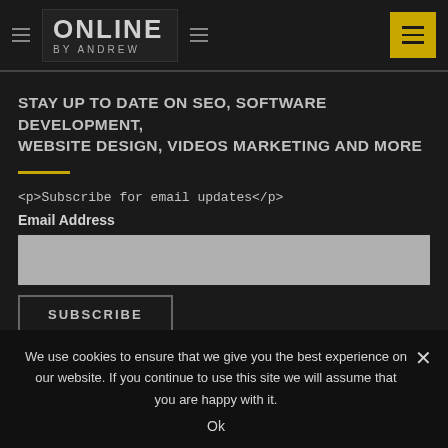ONLINE BY ANDREW
STAY UP TO DATE ON SEO, SOFTWARE DEVELOPMENT, WEBSITE DESIGN, VIDEOS MARKETING AND MORE
<p>Subscribe for email updates</p>
Email Address
SUBSCRIBE
We use cookies to ensure that we give you the best experience on our website. If you continue to use this site we will assume that you are happy with it.
Ok